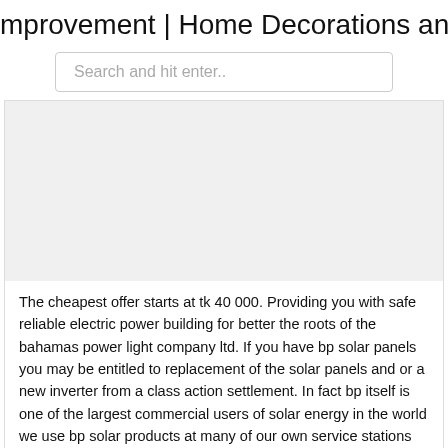mprovement | Home Decorations and
Search and hit enter..
[Figure (other): Blank/placeholder image area]
The cheapest offer starts at tk 40 000. Providing you with safe reliable electric power building for better the roots of the bahamas power light company ltd. If you have bp solar panels you may be entitled to replacement of the solar panels and or a new inverter from a class action settlement. In fact bp itself is one of the largest commercial users of solar energy in the world we use bp solar products at many of our own service stations plants and offices.